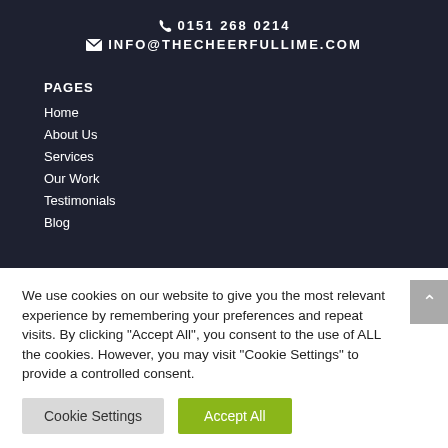0151 268 0214
INFO@THECHEERFULLIME.COM
PAGES
Home
About Us
Services
Our Work
Testimonials
Blog
We use cookies on our website to give you the most relevant experience by remembering your preferences and repeat visits. By clicking "Accept All", you consent to the use of ALL the cookies. However, you may visit "Cookie Settings" to provide a controlled consent.
Cookie Settings    Accept All